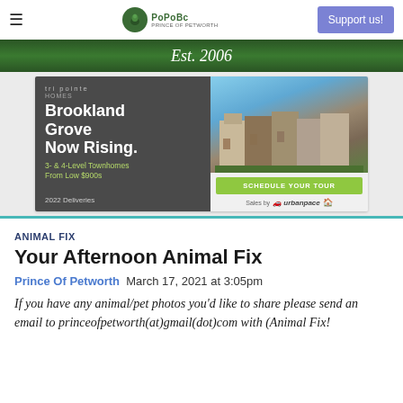≡  PoPoBc Prince of Petworth  Support us!
[Figure (other): Green banner with 'Est. 2006' text in italic white]
[Figure (other): Advertisement for Tri Pointe Homes - Brookland Grove Now Rising. 3- & 4-Level Townhomes From Low $900s. 2022 Deliveries. Schedule Your Tour. Sales by urbanpace.]
ANIMAL FIX
Your Afternoon Animal Fix
Prince Of Petworth  March 17, 2021 at 3:05pm
If you have any animal/pet photos you'd like to share please send an email to princeofpetworth(at)gmail(dot)com with (Animal Fix!